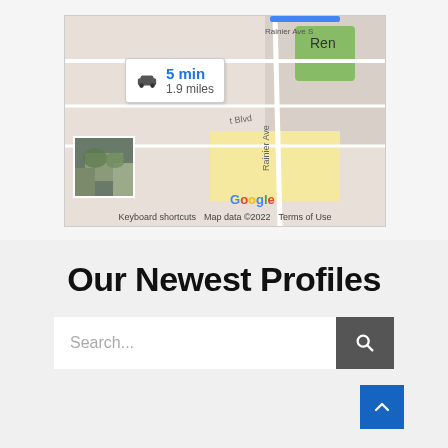[Figure (map): Google Maps screenshot showing a driving route of 5 min / 1.9 miles, with Rainier Ave S visible, zoom controls on the right, Google logo, and map attribution footer reading 'Keyboard shortcuts | Map data ©2022 | Terms of Use'. A street-level photo inset is shown in the bottom-left corner of the map.]
Our Newest Profiles
Search...